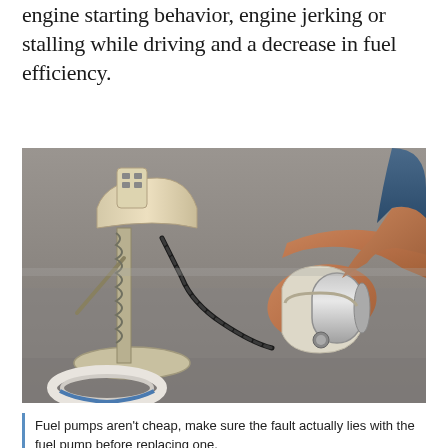engine starting behavior, engine jerking or stalling while driving and a decrease in fuel efficiency.
[Figure (photo): A mechanic's hands holding a fuel pump module and a cylindrical fuel pump component, with the full fuel pump assembly visible on a metal surface in the background.]
Fuel pumps aren't cheap, make sure the fault actually lies with the fuel pump before replacing one.